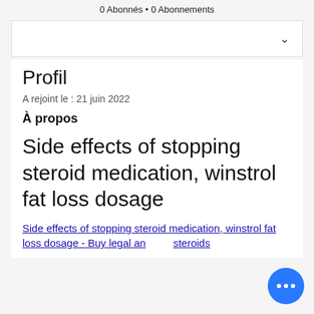0 Abonnés • 0 Abonnements
[Figure (screenshot): Dropdown/filter box with a chevron arrow on the right]
Profil
A rejoint le : 21 juin 2022
À propos
Side effects of stopping steroid medication, winstrol fat loss dosage
Side effects of stopping steroid medication, winstrol fat loss dosage - Buy legal anabolic steroids